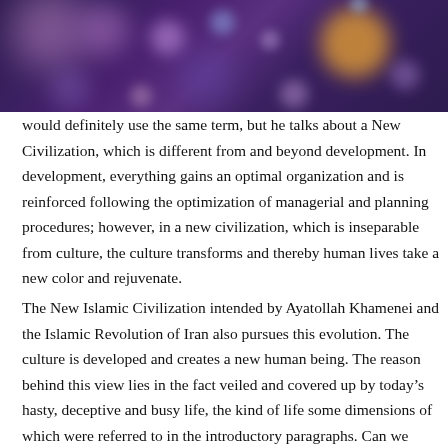[Figure (photo): Decorative bokeh background image with blurred colorful circles (purple, pink, gold, blue tones) on a dark purple background]
would definitely use the same term, but he talks about a New Civilization, which is different from and beyond development. In development, everything gains an optimal organization and is reinforced following the optimization of managerial and planning procedures; however, in a new civilization, which is inseparable from culture, the culture transforms and thereby human lives take a new color and rejuvenate.
The New Islamic Civilization intended by Ayatollah Khamenei and the Islamic Revolution of Iran also pursues this evolution. The culture is developed and creates a new human being. The reason behind this view lies in the fact veiled and covered up by today’s hasty, deceptive and busy life, the kind of life some dimensions of which were referred to in the introductory paragraphs. Can we basically conceive of a different type of life for human being and the human society? This is the question raised by those who are preoccupied with today’s glamorous life and have no time